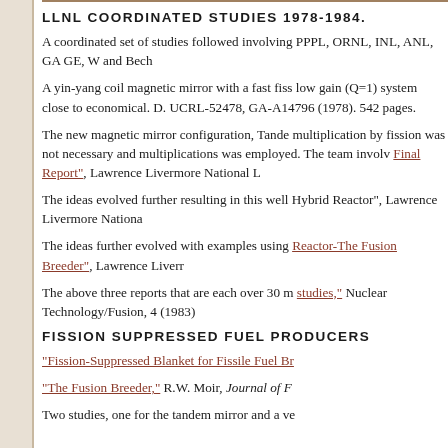LLNL COORDINATED STUDIES 1978-1984.
A coordinated set of studies followed involving PPPL, ORNL, INL, ANL, GA GE, W and Bech
A yin-yang coil magnetic mirror with a fast fiss low gain (Q=1) system close to economical. D. UCRL-52478, GA-A14796 (1978). 542 pages.
The new magnetic mirror configuration, Tande multiplication by fission was not necessary and multiplications was employed. The team involv Final Report", Lawrence Livermore National L
The ideas evolved further resulting in this well Hybrid Reactor", Lawrence Livermore Nationa
The ideas further evolved with examples using Reactor-The Fusion Breeder", Lawrence Liverr
The above three reports that are each over 30 m studies," Nuclear Technology/Fusion, 4 (1983)
FISSION SUPPRESSED FUEL PRODUCERS
“Fission-Suppressed Blanket for Fissile Fuel Br
“The Fusion Breeder,” R.W. Moir, Journal of F
Two studies, one for the tandem mirror and a ve